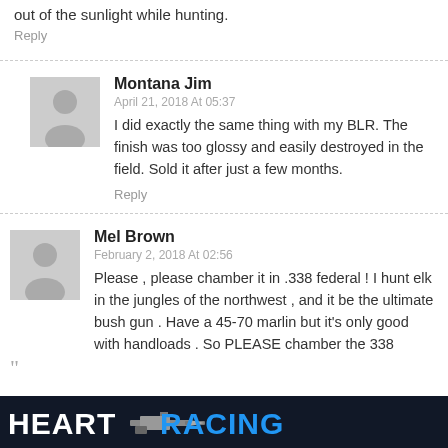out of the sunlight while hunting.
Reply
Montana Jim
April 21, 2018 At 05:37
I did exactly the same thing with my BLR. The finish was too glossy and easily destroyed in the field. Sold it after just a few months.
Reply
Mel Brown
February 2, 2018 At 02:56
Please , please chamber it in .338 federal ! I hunt elk in the jungles of the northwest , and it be the ultimate bush gun . Have a 45-70 marlin but it's only good with handloads . So PLEASE chamber the 338
[Figure (logo): HEART RACING advertisement banner with rifle graphic]